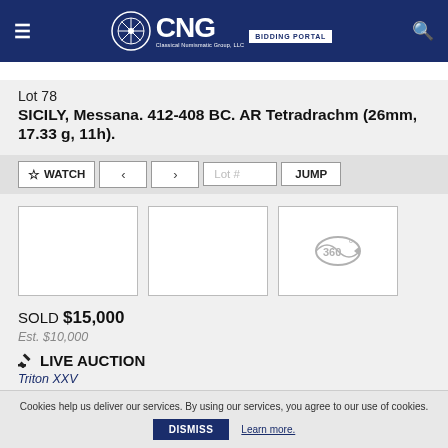CNG BIDDING PORTAL
Lot 78
SICILY, Messana. 412-408 BC. AR Tetradrachm (26mm, 17.33 g, 11h).
[Figure (screenshot): Three image thumbnails for the coin lot: two blank white boxes and one with a 360-degree view icon]
SOLD $15,000
Est. $10,000
LIVE AUCTION
Triton XXV
Cookies help us deliver our services. By using our services, you agree to our use of cookies.
DISMISS
Learn more.